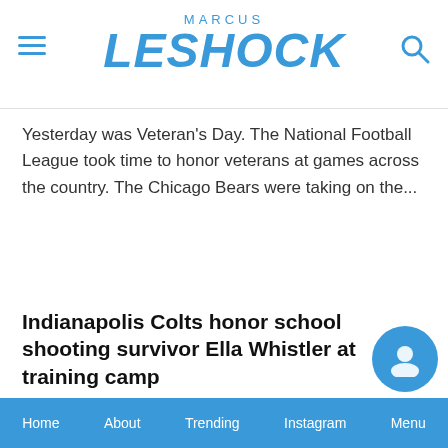MARCUS LESHOCK
Yesterday was Veteran's Day. The National Football League took time to honor veterans at games across the country. The Chicago Bears were taking on the...
Indianapolis Colts honor school shooting survivor Ella Whistler at training camp
Home  About  Trending  Instagram  Menu